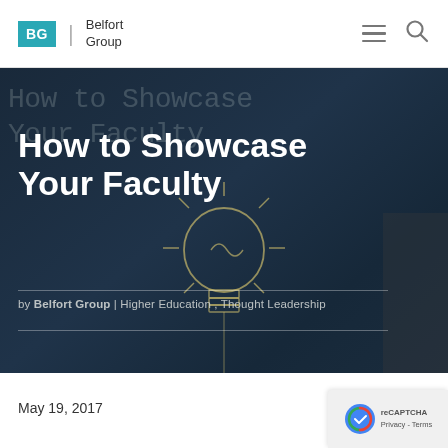BG | Belfort Group
[Figure (photo): Dark chalkboard background with chalk handwriting reading 'How to Showcase Your Faculty', a light bulb sketch, and a person on the right side. White bold article title 'How to Showcase Your Faculty' overlaid. By-line: 'by Belfort Group | Higher Education , Thought Leadership']
How to Showcase Your Faculty
by Belfort Group | Higher Education , Thought Leadership
May 19, 2017